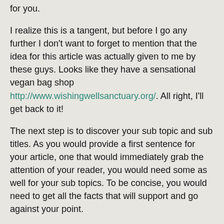for you.
I realize this is a tangent, but before I go any further I don't want to forget to mention that the idea for this article was actually given to me by these guys. Looks like they have a sensational vegan bag shop http://www.wishingwellsanctuary.org/. All right, I'll get back to it!
The next step is to discover your sub topic and sub titles. As you would provide a first sentence for your article, one that would immediately grab the attention of your reader, you would need some as well for your sub topics. To be concise, you would need to get all the facts that will support and go against your point.
These are the frames or skeleton of your article, now its time to add the flesh and the meat of your article. You will need to connect all your paragraphs and sub topics. This will form the body of your Article. While the introduction will usher in the ideas of your paragraph, you will need a